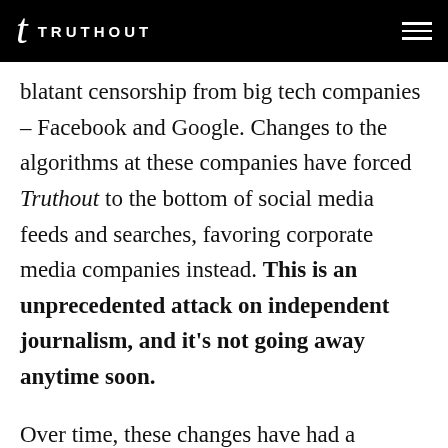TRUTHOUT
blatant censorship from big tech companies – Facebook and Google. Changes to the algorithms at these companies have forced Truthout to the bottom of social media feeds and searches, favoring corporate media companies instead. This is an unprecedented attack on independent journalism, and it's not going away anytime soon.
Over time, these changes have had a harmful impact on our budget. Sadly,